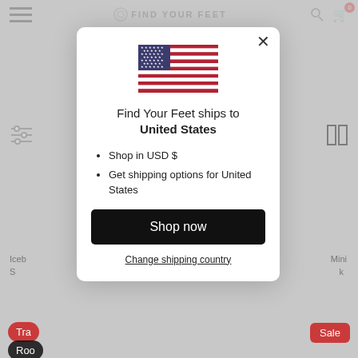[Figure (screenshot): Background website page (Find Your Feet e-commerce) partially visible behind a modal overlay, showing navigation header, filter controls, product listing partial text, and buttons.]
Find Your Feet ships to United States
Shop in USD $
Get shipping options for United States
Shop now
Change shipping country